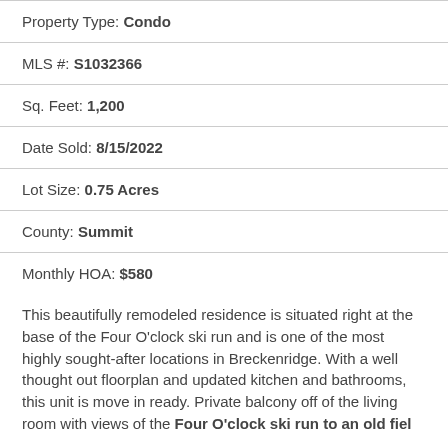Property Type: Condo
MLS #: S1032366
Sq. Feet: 1,200
Date Sold: 8/15/2022
Lot Size: 0.75 Acres
County: Summit
Monthly HOA: $580
This beautifully remodeled residence is situated right at the base of the Four O'clock ski run and is one of the most highly sought-after locations in Breckenridge. With a well thought out floorplan and updated kitchen and bathrooms, this unit is move in ready. Private balcony off of the living room with views of the Four O'clock ski run and ski slopes to an old field...